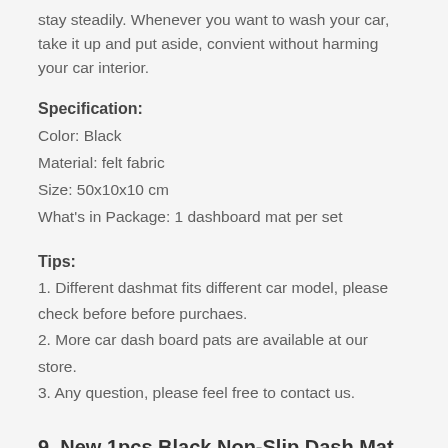stay steadily. Whenever you want to wash your car, take it up and put aside, convient without harming your car interior.
Specification:
Color: Black
Material: felt fabric
Size: 50x10x10 cm
What's in Package: 1 dashboard mat per set
Tips:
1. Different dashmat fits different car model, please check before before purchaes.
2. More car dash board pats are available at our store.
3. Any question, please feel free to contact us.
9. New 1pcs Black Non-Slip Dash Mat Dashboard Mat Dash Cover Pad S...